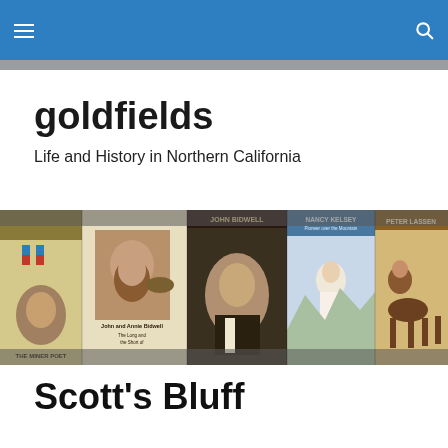goldfields — navigation bar with hamburger menu and search icon
goldfields
Life and History in Northern California
[Figure (photo): A row of book covers about California history including: The Miner Poet, John and Annie Bidwell: The Long and the Short of, John Bidwell, Nancy Kelsey (Pioneer over the Mountain), Peter Lassen, and a partially visible sixth book on the right.]
Scott's Bluff